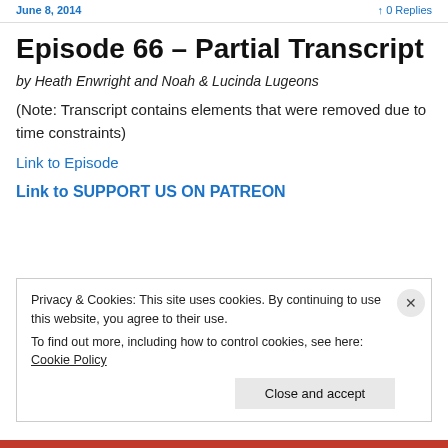June 8, 2014 · 0 Replies
Episode 66 – Partial Transcript
by Heath Enwright and Noah & Lucinda Lugeons
(Note: Transcript contains elements that were removed due to time constraints)
Link to Episode
Link to SUPPORT US ON PATREON
Privacy & Cookies: This site uses cookies. By continuing to use this website, you agree to their use.
To find out more, including how to control cookies, see here: Cookie Policy
Close and accept